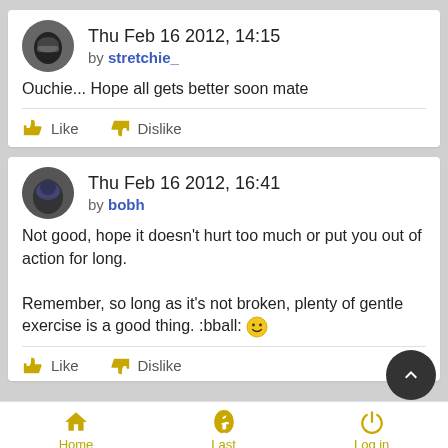Thu Feb 16 2012, 14:15
by stretchie_
Ouchie... Hope all gets better soon mate
Like   Dislike
Thu Feb 16 2012, 16:41
by bobh
Not good, hope it doesn't hurt too much or put you out of action for long.

Remember, so long as it's not broken, plenty of gentle exercise is a good thing. :bball: 😀
Like   Dislike
Home   Last   Log in